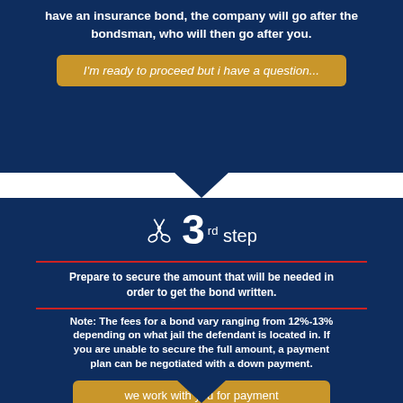have an insurance bond, the company will go after the bondsman, who will then go after you.
I'm ready to proceed but i have a question...
3rd step
Prepare to secure the amount that will be needed in order to get the bond written.
Note: The fees for a bond vary ranging from 12%-13% depending on what jail the defendant is located in. If you are unable to secure the full amount, a payment plan can be negotiated with a down payment.
we work with you for payment